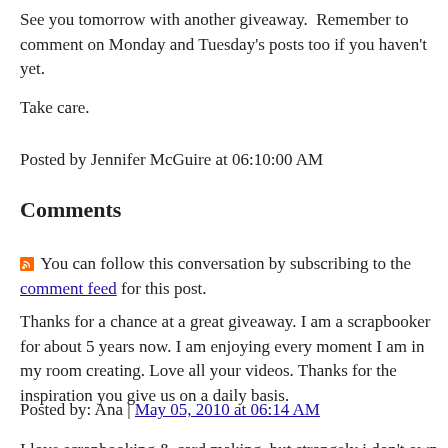See you tomorrow with another giveaway.  Remember to comment on Monday and Tuesday's posts too if you haven't yet.
Take care.
Posted by Jennifer McGuire at 06:10:00 AM
Comments
You can follow this conversation by subscribing to the comment feed for this post.
Thanks for a chance at a great giveaway. I am a scrapbooker for about 5 years now. I am enjoying every moment I am in my room creating. Love all your videos. Thanks for the inspiration you give us on a daily basis.
Posted by: Ana | May 05, 2010 at 06:14 AM
I love scrapbooking & card making, but strangely i don't own ANY Stampin Up products...what a awesome giveaway Jennifer.u have a